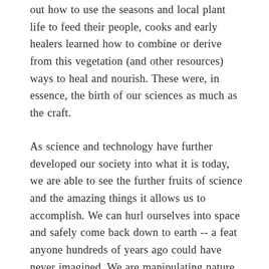out how to use the seasons and local plant life to feed their people, cooks and early healers learned how to combine or derive from this vegetation (and other resources) ways to heal and nourish. These were, in essence, the birth of our sciences as much as the craft.
As science and technology have further developed our society into what it is today, we are able to see the further fruits of science and the amazing things it allows us to accomplish. We can hurl ourselves into space and safely come back down to earth -- a feat anyone hundreds of years ago could have never imagined. We are manipulating nature to create more hardy and nutritious crops, using artificial lights and temperature systems